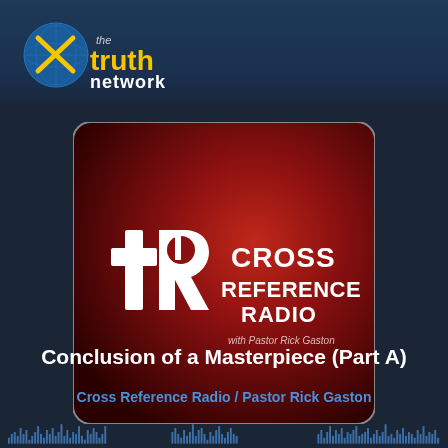[Figure (logo): The Truth Network logo: globe with yellow check/X mark and text 'the truth network' in yellow/white bold lettering]
[Figure (illustration): Cross Reference Radio podcast artwork: dark red gradient background with white stylized 'R' cross logo and text 'CROSS REFERENCE RADIO with Pastor Rick Gaston' in white bold letters]
Conclusion of a Masterpiece (Part A)
Cross Reference Radio / Pastor Rick Gaston